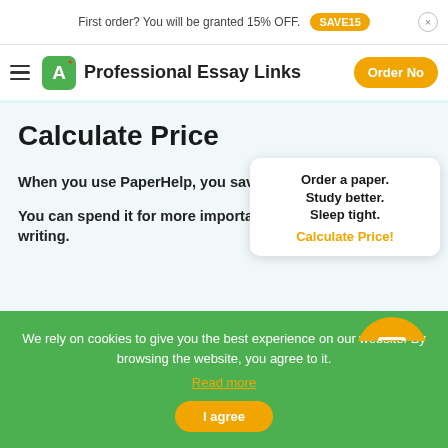First order? You will be granted 15% OFF. SAVE15
Professional Essay Links  Order Now
Calculate Price
When you use PaperHelp, you save one valuable
You can spend it for more important things than paper writing.
Order a paper. Study better. Sleep tight. Calculate Price!
We rely on cookies to give you the best experience on our website. By browsing the website, you agree to it. Read more
I agree